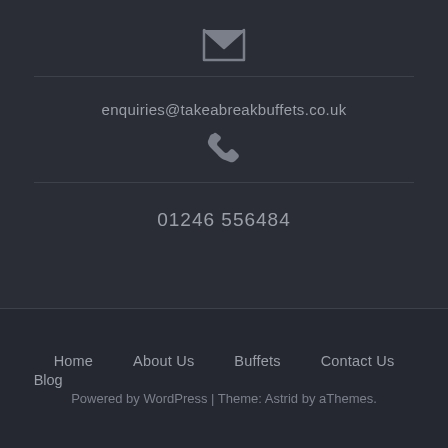[Figure (other): Envelope icon (mail icon) in grey]
enquiries@takeabreakbuffets.co.uk
[Figure (other): Phone/telephone icon in grey]
01246 556484
Home
About Us
Buffets
Contact Us
Blog
Powered by WordPress | Theme: Astrid by aThemes.